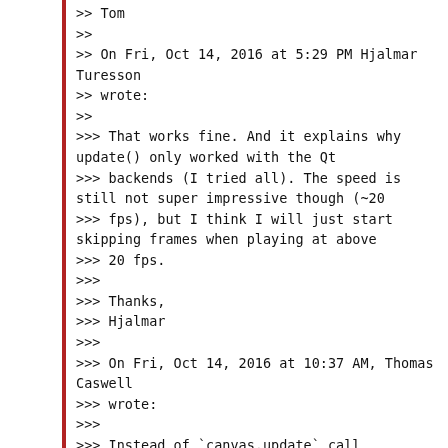>> Tom
>>
>> On Fri, Oct 14, 2016 at 5:29 PM Hjalmar Turesson
>> wrote:
>>
>>> That works fine. And it explains why update() only worked with the Qt
>>> backends (I tried all). The speed is still not super impressive though (~20
>>> fps), but I think I will just start skipping frames when playing at above
>>> 20 fps.
>>>
>>> Thanks,
>>> Hjalmar
>>>
>>> On Fri, Oct 14, 2016 at 10:37 AM, Thomas Caswell
>>> wrote:
>>>
>>> Instead of `canvas.update` call `self.im.figure.canvas.draw_idle()`